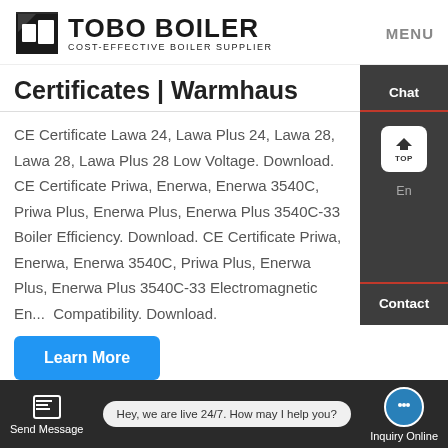TOBO BOILER — COST-EFFECTIVE BOILER SUPPLIER — MENU
Certificates | Warmhaus
CE Certificate Lawa 24, Lawa Plus 24, Lawa 28, Lawa 28, Lawa Plus 28 Low Voltage. Download. CE Certificate Priwa, Enerwa, Enerwa 3540C, Priwa Plus, Enerwa Plus, Enerwa Plus 3540C-33 Boiler Efficiency. Download. CE Certificate Priwa, Enerwa, Enerwa 3540C, Priwa Plus, Enerwa Plus, Enerwa Plus 3540C-33 Electromagnetic Compatibility. Download.
Learn More
[Figure (photo): Industrial boiler facility interior with large pipes and equipment]
Hey, we are live 24/7. How may I help you?
Send Message | Inquiry Online